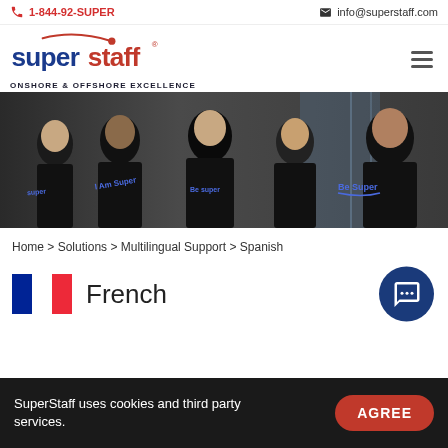1-844-92-SUPER | info@superstaff.com
[Figure (logo): SuperStaff logo with tagline ONSHORE & OFFSHORE EXCELLENCE]
[Figure (photo): Group of young professionals wearing black SuperStaff branded t-shirts with text 'I Am Super' and 'Be Super']
Home > Solutions > Multilingual Support > Spanish
French
SuperStaff uses cookies and third party services.